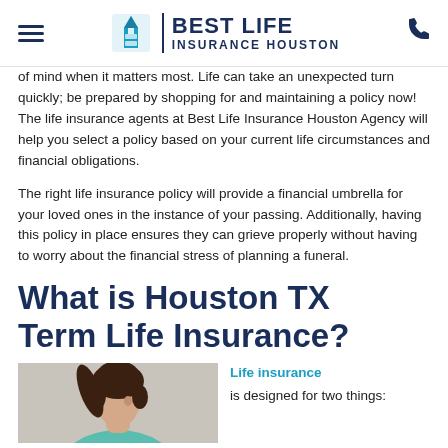BEST LIFE INSURANCE HOUSTON
of mind when it matters most. Life can take an unexpected turn quickly; be prepared by shopping for and maintaining a policy now! The life insurance agents at Best Life Insurance Houston Agency will help you select a policy based on your current life circumstances and financial obligations.
The right life insurance policy will provide a financial umbrella for your loved ones in the instance of your passing. Additionally, having this policy in place ensures they can grieve properly without having to worry about the financial stress of planning a funeral.
What is Houston TX Term Life Insurance?
[Figure (photo): Young woman with curly hair viewed from the side, wearing a teal top]
Life insurance is designed for two things: